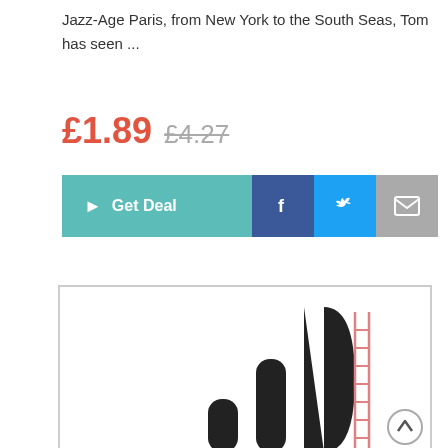Jazz-Age Paris, from New York to the South Seas, Tom has seen ...
£1.89  £4.27
[Figure (screenshot): Buttons row: teal Get Deal button, Facebook share button, Twitter share button, Email share button]
[Figure (illustration): Book cover illustration showing bar chart style black bars of increasing height with a red ladder leaning against the tallest bar, all on white background with border]